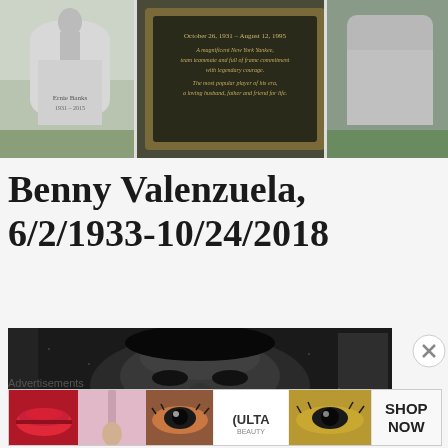[Figure (photo): Three photos of cemetery grave markers/headstones arranged side by side at the top of the page. Left photo shows a headstone reading 'Ernie Banks'. Center photo shows a dark memorial plaque with text. Right photo shows a gray headstone.]
Benny Valenzuela, 6/2/1933-10/24/2018
[Figure (photo): Black and white grainy portrait photo of a person's face, taking up the lower portion of the page.]
Advertisements
[Figure (photo): Advertisement banner showing Ulta Beauty cosmetics advertisements with images of lips, makeup brushes, eyes, the Ulta logo, and a 'SHOP NOW' call to action.]